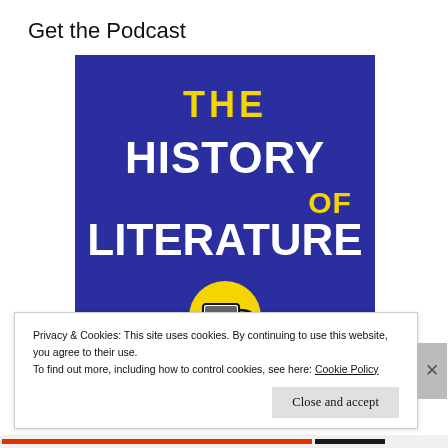Get the Podcast
[Figure (illustration): Podcast cover art for 'The History of Literature' on a dark blue/navy background. Large bold white text reads 'THE HISTORY OF LITERATURE' with 'OF' in yellow. A yellow circle at the bottom contains a black and white coffee mug icon.]
Privacy & Cookies: This site uses cookies. By continuing to use this website, you agree to their use.
To find out more, including how to control cookies, see here: Cookie Policy
Close and accept